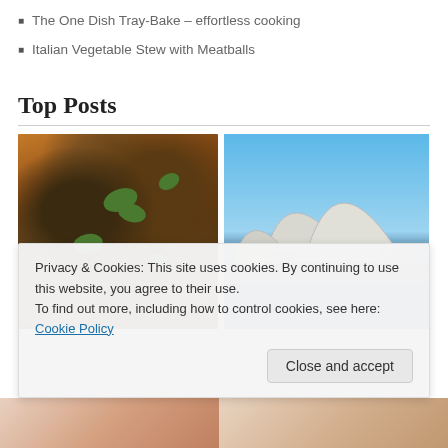The One Dish Tray-Bake – effortless cooking
Italian Vegetable Stew with Meatballs
Top Posts
[Figure (photo): Close-up photo of roasted/baked chicken pieces with herbs and tomato sauce in a tray]
[Figure (photo): Photo of the Sydney Opera House against a clear blue sky]
Privacy & Cookies: This site uses cookies. By continuing to use this website, you agree to their use.
To find out more, including how to control cookies, see here: Cookie Policy
Close and accept